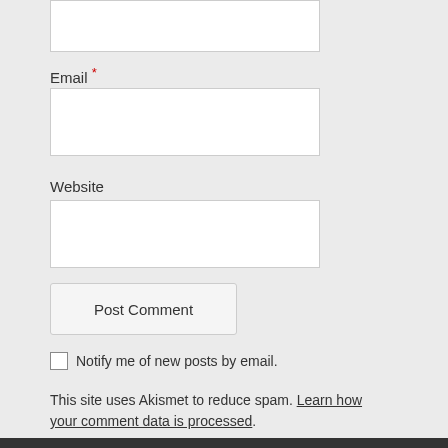[Figure (screenshot): Top portion of a web comment form input box (partially visible at top of page)]
Email *
[Figure (screenshot): Email input text field (empty)]
Website
[Figure (screenshot): Website input text field (empty)]
Post Comment
Notify me of new posts by email.
This site uses Akismet to reduce spam. Learn how your comment data is processed.